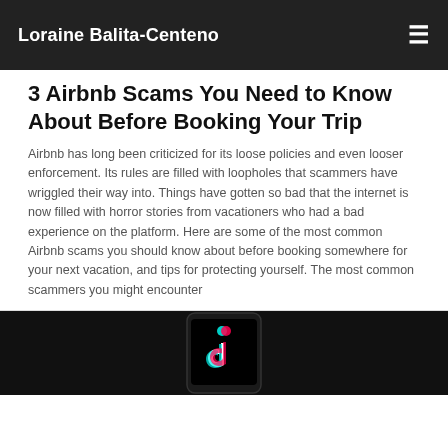Loraine Balita-Centeno
3 Airbnb Scams You Need to Know About Before Booking Your Trip
Airbnb has long been criticized for its loose policies and even looser enforcement. Its rules are filled with loopholes that scammers have wriggled their way into. Things have gotten so bad that the internet is now filled with horror stories from vacationers who had a bad experience on the platform. Here are some of the most common Airbnb scams you should know about before booking somewhere for your next vacation, and tips for protecting yourself. The most common scammers you might encounter
[Figure (photo): A hand holding a smartphone displaying the TikTok logo on a dark background.]